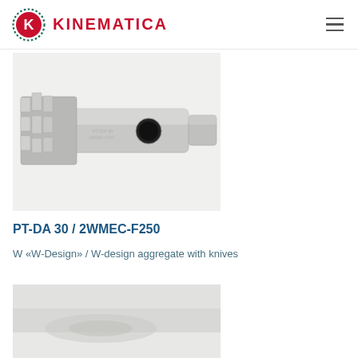KINEMATICA
[Figure (photo): Close-up photograph of a PT-DA 30 / 2WMEC-F250 W-design aggregate with knives — a stainless steel rotor/dispersing tool head showing multiple blade fins and a cylindrical shaft with an opening]
PT-DA 30 / 2WMEC-F250
W «W-Design» / W-design aggregate with knives
[Figure (photo): Partial view of another Kinematica product component, light grey metallic surface, partially cropped at bottom of page]